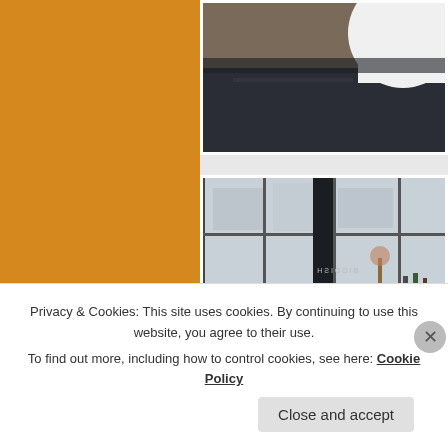[Figure (photo): Partial photo of a dark table with a white cylindrical object, top portion visible]
[Figure (photo): Interior photo of a cafe/restaurant with large windows, a dark pillar, wooden bar/counter, tables and chairs, and a sign visible in the background]
Privacy & Cookies: This site uses cookies. By continuing to use this website, you agree to their use.
To find out more, including how to control cookies, see here: Cookie Policy
Close and accept